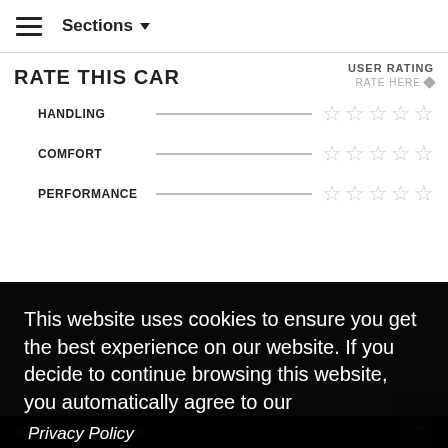≡  Sections ▾
RATE THIS CAR
USER RATING
RATE HERE
HANDLING ☆☆☆☆☆
COMFORT ☆☆☆☆☆
PERFORMANCE ☆☆☆☆☆
This website uses cookies to ensure you get the best experience on our website. If you decide to continue browsing this website, you automatically agree to our
Privacy Policy
Got it!
Don't forget to rate this car!